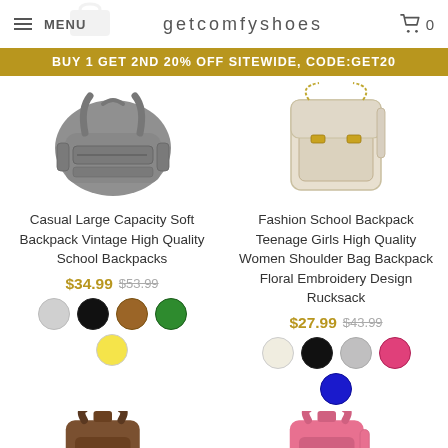MENU  getcomfyshoes  0
BUY 1 GET 2ND 20% OFF SITEWIDE, CODE:GET20
[Figure (photo): Grey soft leather backpack product image]
[Figure (photo): Cream/beige structured school backpack with gold hardware]
Casual Large Capacity Soft Backpack Vintage High Quality School Backpacks
Fashion School Backpack Teenage Girls High Quality Women Shoulder Bag Backpack Floral Embroidery Design Rucksack
$34.99 $53.99
$27.99 $43.99
[Figure (photo): Brown backpack bottom-left sale item]
[Figure (photo): Pink backpack bottom-right sale item]